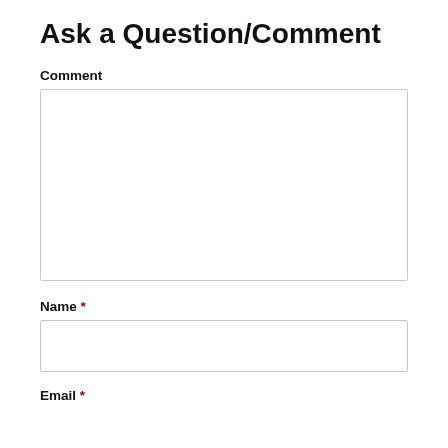Ask a Question/Comment
Comment
[Figure (other): Large empty textarea input box for comment]
Name *
[Figure (other): Single-line text input box for name]
Email *